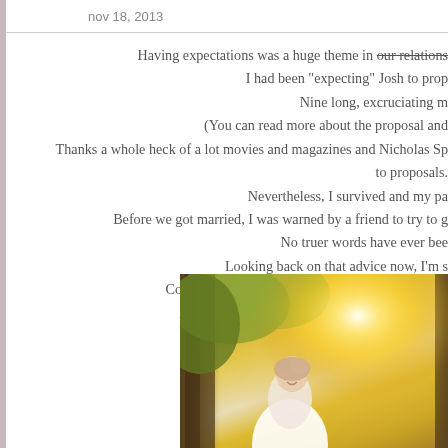nov 18, 2013
Having expectations was a huge theme in our relationship. I had been "expecting" Josh to prop Nine long, excruciating m (You can read more about the proposal and Thanks a whole heck of a lot movies and magazines and Nicholas Sp to proposals. Nevertheless, I survived and my pa Before we got married, I was warned by a friend to try to g No truer words have ever bee Looking back on that advice now, I'm s Controlling my expectations has been the life less As hard as I tried not to, I still had a lot of expe
[Figure (photo): A bride in a white lace dress smiling outdoors among trees with bright sunlight glowing behind her]